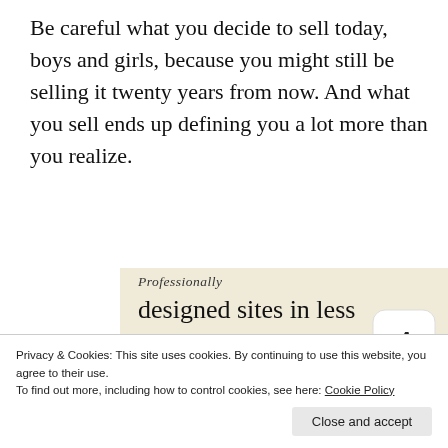Be careful what you decide to sell today, boys and girls, because you might still be selling it twenty years from now. And what you sell ends up defining you a lot more than you realize.
[Figure (screenshot): WordPress.com advertisement banner with beige background. Shows partial text 'Professionally designed sites in less than a week', a green 'Explore options' button, WordPress logo, and phone mockup showing website templates.]
Privacy & Cookies: This site uses cookies. By continuing to use this website, you agree to their use.
To find out more, including how to control cookies, see here: Cookie Policy
Close and accept